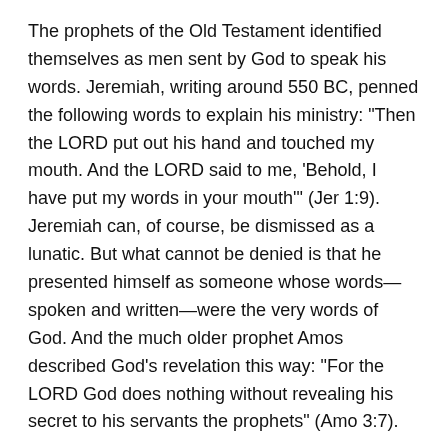The prophets of the Old Testament identified themselves as men sent by God to speak his words. Jeremiah, writing around 550 BC, penned the following words to explain his ministry: "Then the LORD put out his hand and touched my mouth. And the LORD said to me, 'Behold, I have put my words in your mouth'" (Jer 1:9). Jeremiah can, of course, be dismissed as a lunatic. But what cannot be denied is that he presented himself as someone whose words—spoken and written—were the very words of God. And the much older prophet Amos described God's revelation this way: "For the LORD God does nothing without revealing his secret to his servants the prophets" (Amo 3:7).
The writers of the New Testament certainly affirmed the divine authority of the Old Testament prophets (2 Tim 3:16), but they also believed that God continued to speak through them. The writers of the New Testament also recognized the authority of